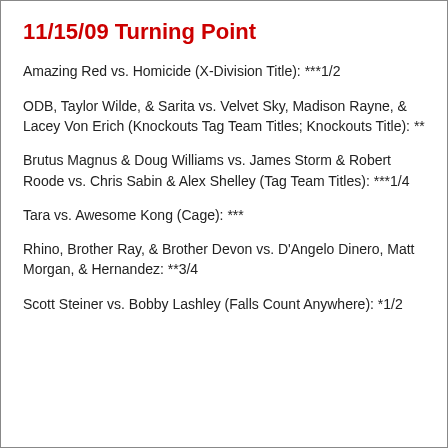11/15/09 Turning Point
Amazing Red vs. Homicide (X-Division Title): ***1/2
ODB, Taylor Wilde, & Sarita vs. Velvet Sky, Madison Rayne, & Lacey Von Erich (Knockouts Tag Team Titles; Knockouts Title): **
Brutus Magnus & Doug Williams vs. James Storm & Robert Roode vs. Chris Sabin & Alex Shelley (Tag Team Titles): ***1/4
Tara vs. Awesome Kong (Cage): ***
Rhino, Brother Ray, & Brother Devon vs. D'Angelo Dinero, Matt Morgan, & Hernandez: **3/4
Scott Steiner vs. Bobby Lashley (Falls Count Anywhere): *1/2